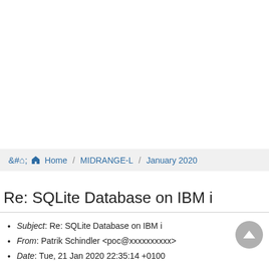Home / MIDRANGE-L / January 2020
Re: SQLite Database on IBM i
Subject: Re: SQLite Database on IBM i
From: Patrik Schindler <poc@xxxxxxxxxx>
Date: Tue, 21 Jan 2020 22:35:14 +0100